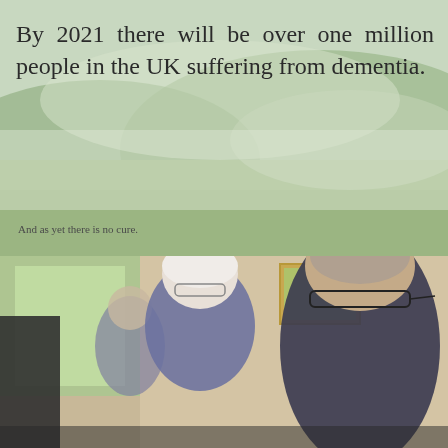[Figure (photo): Background landscape photo showing green rolling hills with wildflowers and a misty sky, serving as the background for the upper portion of the page.]
By 2021 there will be over one million people in the UK suffering from dementia.
And as yet there is no cure.
Lear was not alone.
[Figure (photo): Photo of an elderly couple at what appears to be a social gathering or restaurant. An older woman with white hair and a man with grey hair and glasses are visible in the foreground.]